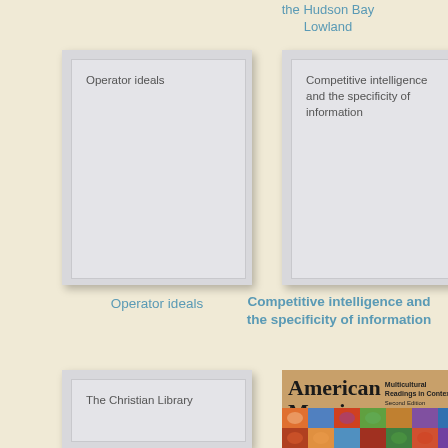the Hudson Bay Lowland
[Figure (illustration): Book cover placeholder with title 'Operator ideals']
[Figure (illustration): Book cover placeholder with title 'Competitive intelligence and the specificity of information']
Operator ideals
Competitive intelligence and the specificity of information
[Figure (illustration): Book cover placeholder with title 'The Christian Library']
[Figure (illustration): American Mosaic book cover with colorful mosaic artwork at bottom]